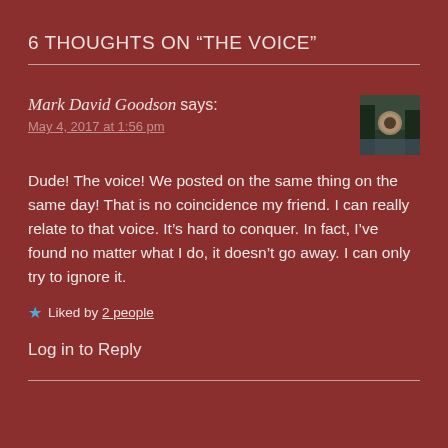6 THOUGHTS ON “THE VOICE”
Mark David Goodson says:
May 4, 2017 at 1:56 pm
Dude! The voice! We posted on the same thing on the same day! That is no coincidence my friend. I can really relate to that voice. It’s hard to conquer. In fact, I’ve found no matter what I do, it doesn’t go away. I can only try to ignore it.
★ Liked by 2 people
Log in to Reply